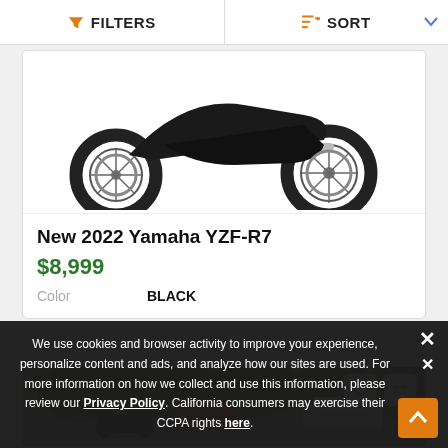FILTERS | SORT
[Figure (photo): Bottom portion of a black Yamaha YZF-R7 motorcycle showing wheels, engine, and exhaust on white background]
New 2022 Yamaha YZF-R7
$8,999
Color   BLACK
[Figure (photo): Outdoor scene with trees, cars and motorcycles in a dealership lot. Shows 6 photos indicator and heart/compare action buttons.]
We use cookies and browser activity to improve your experience, personalize content and ads, and analyze how our sites are used. For more information on how we collect and use this information, please review our Privacy Policy. California consumers may exercise their CCPA rights here.